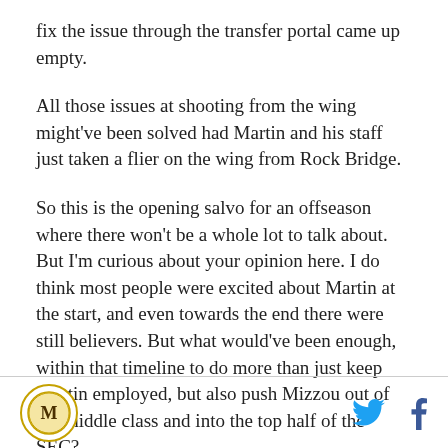fix the issue through the transfer portal came up empty.
All those issues at shooting from the wing might've been solved had Martin and his staff just taken a flier on the wing from Rock Bridge.
So this is the opening salvo for an offseason where there won't be a whole lot to talk about. But I'm curious about your opinion here. I do think most people were excited about Martin at the start, and even towards the end there were still believers. But what would've been enough, within that timeline to do more than just keep Martin employed, but also push Mizzou out of the middle class and into the top half of the SEC?
Mizzou logo, Twitter and Facebook icons